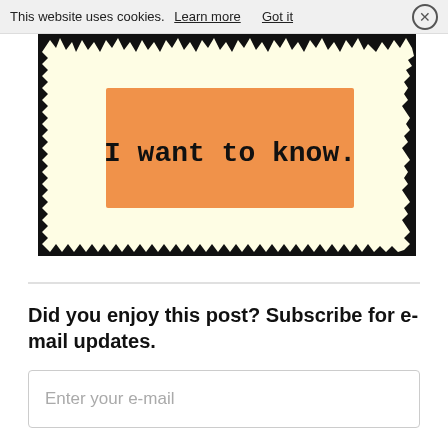This website uses cookies. Learn more   Got it
[Figure (illustration): A torn paper / parchment style image with a light yellow background and black torn edges. In the center is an orange rectangle containing bold serif text: 'I want to know.']
Did you enjoy this post? Subscribe for e-mail updates.
Enter your e-mail